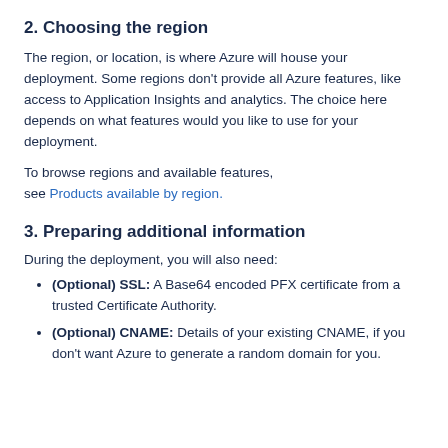2. Choosing the region
The region, or location, is where Azure will house your deployment. Some regions don’t provide all Azure features, like access to Application Insights and analytics. The choice here depends on what features would you like to use for your deployment.
To browse regions and available features, see Products available by region.
3. Preparing additional information
During the deployment, you will also need:
(Optional) SSL: A Base64 encoded PFX certificate from a trusted Certificate Authority.
(Optional) CNAME: Details of your existing CNAME, if you don’t want Azure to generate a random domain for you.